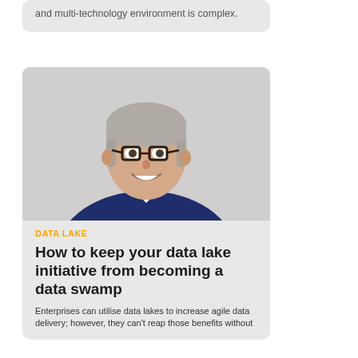and multi-technology environment is complex.
[Figure (photo): Professional headshot of a middle-aged man with grey hair, glasses, wearing a dark navy blazer over a white shirt, smiling, against a light grey background.]
DATA LAKE
How to keep your data lake initiative from becoming a data swamp
Enterprises can utilise data lakes to increase agile data delivery; however, they can't reap those benefits without